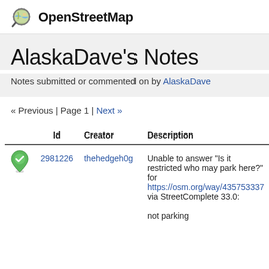OpenStreetMap
AlaskaDave's Notes
Notes submitted or commented on by AlaskaDave
« Previous | Page 1 | Next »
|  | Id | Creator | Description |
| --- | --- | --- | --- |
| [icon] | 2981226 | thehedgeh0g | Unable to answer "Is it restricted who may park here?" for https://osm.org/way/435753337 via StreetComplete 33.0:

not parking |